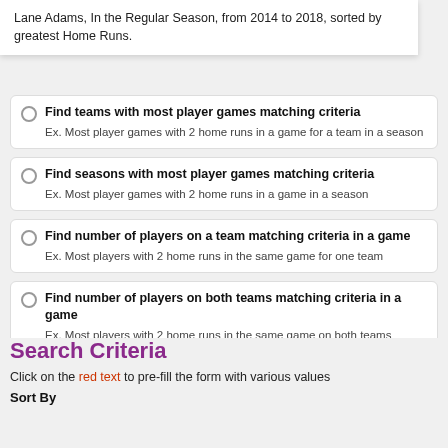Lane Adams, In the Regular Season, from 2014 to 2018, sorted by greatest Home Runs.
Find teams with most player games matching criteria
Ex. Most player games with 2 home runs in a game for a team in a season
Find seasons with most player games matching criteria
Ex. Most player games with 2 home runs in a game in a season
Find number of players on a team matching criteria in a game
Ex. Most players with 2 home runs in the same game for one team
Find number of players on both teams matching criteria in a game
Ex. Most players with 2 home runs in the same game on both teams combined
Search Criteria
Click on the red text to pre-fill the form with various values
Sort By